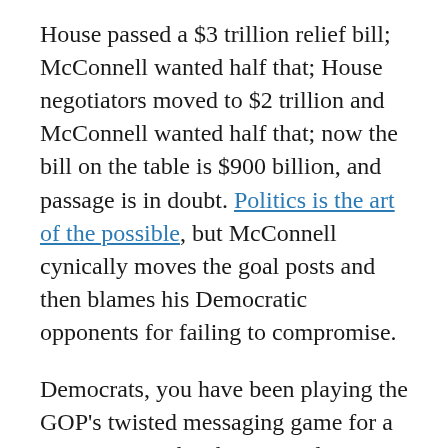House passed a $3 trillion relief bill; McConnell wanted half that; House negotiators moved to $2 trillion and McConnell wanted half that; now the bill on the table is $900 billion, and passage is in doubt. Politics is the art of the possible, but McConnell cynically moves the goal posts and then blames his Democratic opponents for failing to compromise.
Democrats, you have been playing the GOP's twisted messaging game for a generation. Take charge, explain in plain language what is going on, and exact a price for the GOP's sedition. Don't seat them. Change the game, and make new rules. People will notice; you might even improve your majority. Elections have